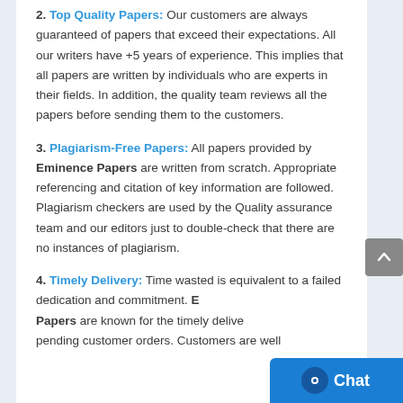2. Top Quality Papers: Our customers are always guaranteed of papers that exceed their expectations. All our writers have +5 years of experience. This implies that all papers are written by individuals who are experts in their fields. In addition, the quality team reviews all the papers before sending them to the customers.
3. Plagiarism-Free Papers: All papers provided by Eminence Papers are written from scratch. Appropriate referencing and citation of key information are followed. Plagiarism checkers are used by the Quality assurance team and our editors just to double-check that there are no instances of plagiarism.
4. Timely Delivery: Time wasted is equivalent to a failed dedication and commitment. Eminence Papers are known for the timely delivery of any pending customer orders. Customers are well...